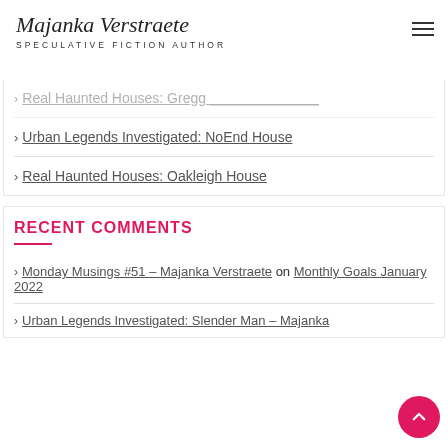Majanka Verstraete — SPECULATIVE FICTION AUTHOR
Real Haunted Houses: Gregg (partial, cut off at top)
Urban Legends Investigated: NoEnd House
Real Haunted Houses: Oakleigh House
RECENT COMMENTS
Monday Musings #51 – Majanka Verstraete on Monthly Goals January 2022
Urban Legends Investigated: Slender Man – Majanka (partial, cut off at bottom)